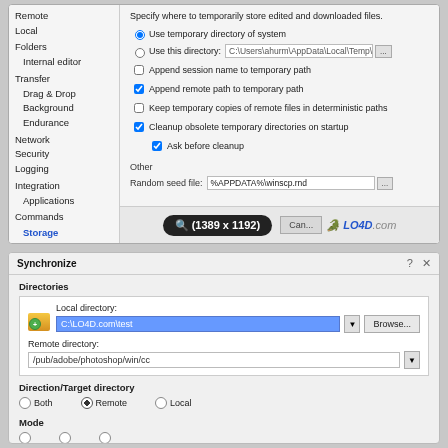[Figure (screenshot): WinSCP preferences dialog showing Storage settings panel with left navigation tree and right panel with temporary file directory options, 'Other' section with random seed file field, and bottom bar with zoom badge (1389 x 1192) and LO4D.com watermark]
[Figure (screenshot): WinSCP Synchronize dialog showing Directories section with local directory C:\LO4D.com\test (highlighted blue), remote directory /pub/adobe/photoshop/win/cc, Direction/Target directory with Both/Remote/Local radio buttons (Remote selected), and Mode section at bottom]